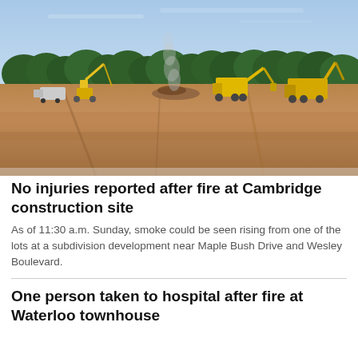[Figure (photo): Aerial-level ground photo of a wide cleared construction site with yellow excavators and heavy machinery. Smoke rising from the center. Dense tree line visible in background under a blue sky.]
No injuries reported after fire at Cambridge construction site
As of 11:30 a.m. Sunday, smoke could be seen rising from one of the lots at a subdivision development near Maple Bush Drive and Wesley Boulevard.
One person taken to hospital after fire at Waterloo townhouse